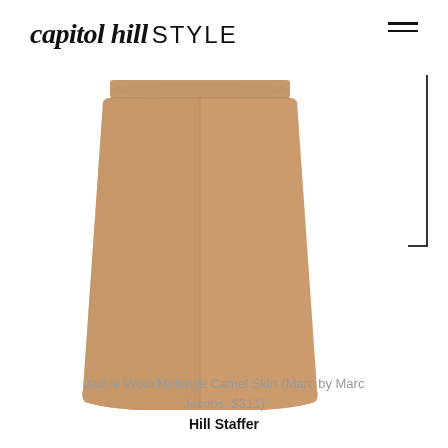capitol hill STYLE
[Figure (photo): A camel/tan colored wool melange mini skirt (Jackie Wool Melange Camel Skirt by Marc by Marc Jacobs) shown as a product photo on white background.]
Jackie Wool Melange Camel Skirt (Marc by Marc Jacobs, $311)
Hill Staffer